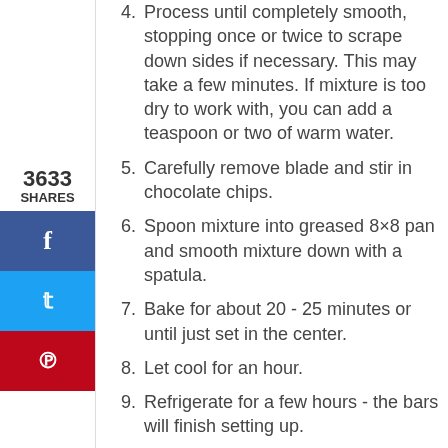4. Process until completely smooth, stopping once or twice to scrape down sides if necessary. This may take a few minutes. If mixture is too dry to work with, you can add a teaspoon or two of warm water.
5. Carefully remove blade and stir in chocolate chips.
6. Spoon mixture into greased 8x8 pan and smooth mixture down with a spatula.
7. Bake for about 20 - 25 minutes or until just set in the center.
8. Let cool for an hour.
9. Refrigerate for a few hours - the bars will finish setting up.
10. Cut into bars and serve. You could also cut these into smaller, brownie or fudge sized pieces and serve as a dessert or snacks.